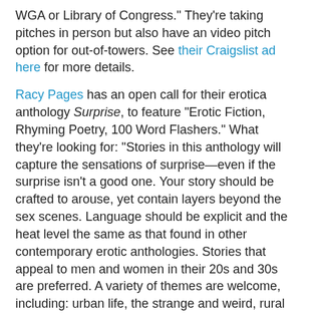WGA or Library of Congress." They're taking pitches in person but also have an video pitch option for out-of-towers. See their Craigslist ad here for more details.
Racy Pages has an open call for their erotica anthology Surprise, to feature "Erotic Fiction, Rhyming Poetry, 100 Word Flashers." What they're looking for: "Stories in this anthology will capture the sensations of surprise—even if the surprise isn't a good one. Your story should be crafted to arouse, yet contain layers beyond the sex scenes. Language should be explicit and the heat level the same as that found in other contemporary erotic anthologies. Stories that appeal to men and women in their 20s and 30s are preferred. A variety of themes are welcome, including: urban life, the strange and weird, rural settings, ethnic characters, humor. In addition to short fiction, we are looking for rhyming poetry and one-hundred word flashers to include in the anthology. Stories will be previously unpublished and most will fall between 1000-5000 words. Payment is $100/story, $50/poem, and $10/flasher, plus two copies of the book." Electronic subs only, see guidelines page for more details. Deadline: December 1, 2009.